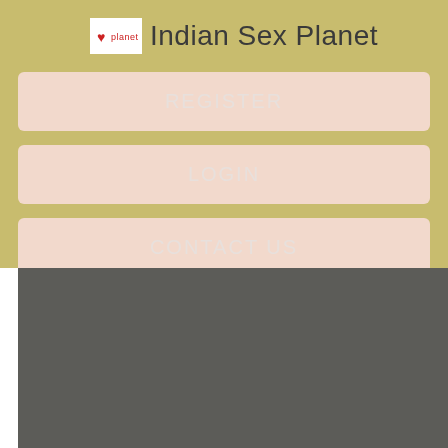Indian Sex Planet
REGISTER
LOGIN
CONTACT US